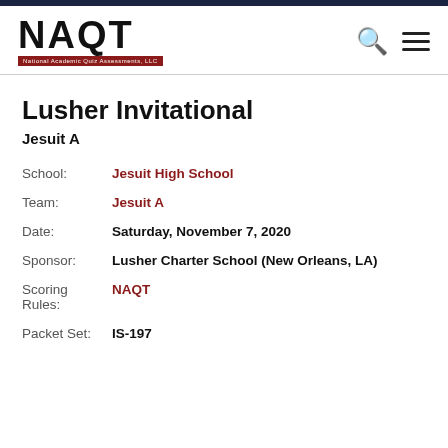[Figure (logo): NAQT logo with 'National Academic Quiz Assessments, LLC' subtitle on dark red background]
Lusher Invitational
Jesuit A
| School: | Jesuit High School |
| Team: | Jesuit A |
| Date: | Saturday, November 7, 2020 |
| Sponsor: | Lusher Charter School (New Orleans, LA) |
| Scoring Rules: | NAQT |
| Packet Set: | IS-197 |